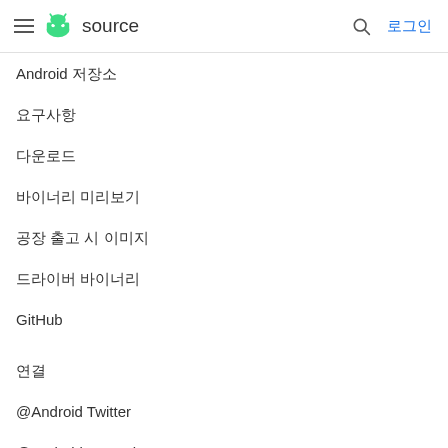≡ android source  🔍 로그인
Android 저장소
요구사항
다운로드
바이너리 미리보기
공장 출고 시 이미지
드라이버 바이너리
GitHub
연결
@Android Twitter
@AndroidDev Twitter
Android 블로그
Google 보안 블로그